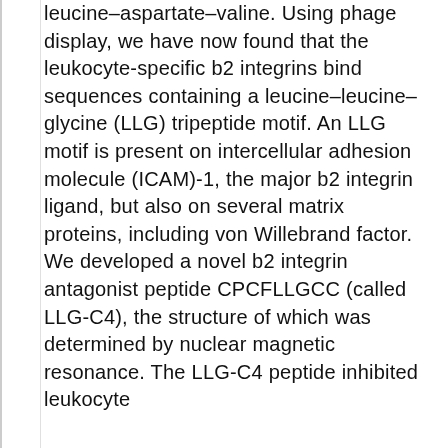leucine–aspartate–valine. Using phage display, we have now found that the leukocyte-specific b2 integrins bind sequences containing a leucine–leucine–glycine (LLG) tripeptide motif. An LLG motif is present on intercellular adhesion molecule (ICAM)-1, the major b2 integrin ligand, but also on several matrix proteins, including von Willebrand factor. We developed a novel b2 integrin antagonist peptide CPCFLLGCC (called LLG-C4), the structure of which was determined by nuclear magnetic resonance. The LLG-C4 peptide inhibited leukocyte